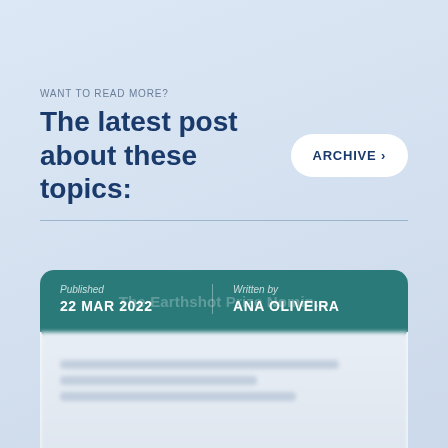WANT TO READ MORE?
The latest post about these topics:
ARCHIVE >
[Figure (screenshot): A card showing a blog post published 22 MAR 2022 by ANA OLIVEIRA with teal header bar and blurred body content]
Published 22 MAR 2022 | Written by ANA OLIVEIRA